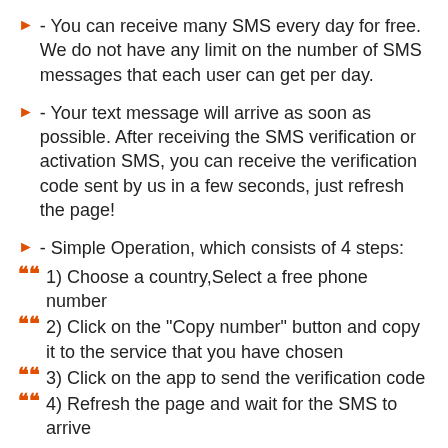- You can receive many SMS every day for free. We do not have any limit on the number of SMS messages that each user can get per day.
- Your text message will arrive as soon as possible. After receiving the SMS verification or activation SMS, you can receive the verification code sent by us in a few seconds, just refresh the page!
- Simple Operation, which consists of 4 steps:
1) Choose a country,Select a free phone number
2) Click on the "Copy number" button and copy it to the service that you have chosen
3) Click on the app to send the verification code
4) Refresh the page and wait for the SMS to arrive
You should know that Anyone can see text messages from the phone number,Please do not use this phone number to receive important Messages
Sometimes our phone number may be blocked on certain